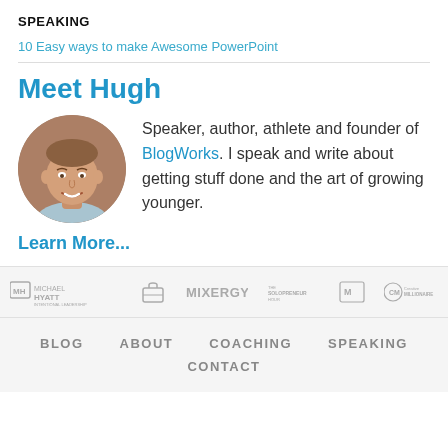SPEAKING
10 Easy ways to make Awesome PowerPoint
Meet Hugh
[Figure (photo): Circular headshot photo of Hugh, a middle-aged man smiling, in front of a brick wall background]
Speaker, author, athlete and founder of BlogWorks. I speak and write about getting stuff done and the art of growing younger.
Learn More...
[Figure (logo): Row of partner/media logos: Michael Hyatt, a briefcase icon, Mixergy, The Solopreneur Hour, and Creative Millionaire]
BLOG   ABOUT   COACHING   SPEAKING   CONTACT